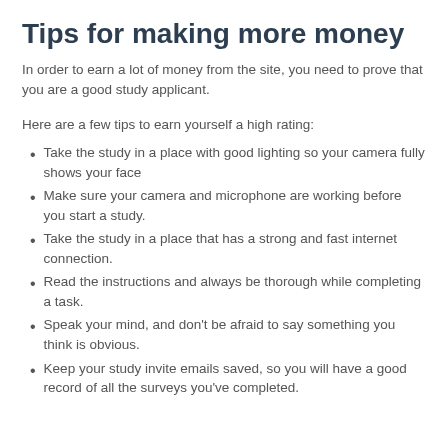Tips for making more money
In order to earn a lot of money from the site, you need to prove that you are a good study applicant.
Here are a few tips to earn yourself a high rating:
Take the study in a place with good lighting so your camera fully shows your face
Make sure your camera and microphone are working before you start a study.
Take the study in a place that has a strong and fast internet connection.
Read the instructions and always be thorough while completing a task.
Speak your mind, and don't be afraid to say something you think is obvious.
Keep your study invite emails saved, so you will have a good record of all the surveys you've completed.